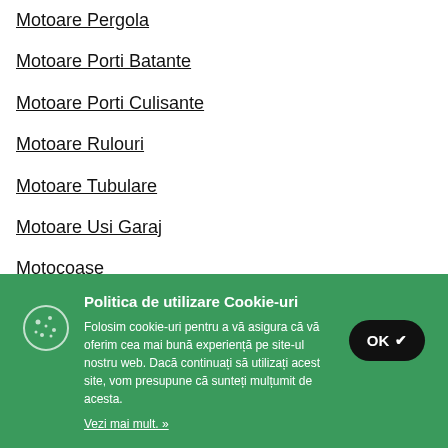Motoare Pergola
Motoare Porti Batante
Motoare Porti Culisante
Motoare Rulouri
Motoare Tubulare
Motoare Usi Garaj
Motocoase
Motocositoare
[Figure (illustration): Cookie consent banner with green background, cookie icon, title 'Politica de utilizare Cookie-uri', body text about cookie usage, 'Vezi mai mult. »' link, and a black OK button with checkmark]
Politica de utilizare Cookie-uri
Folosim cookie-uri pentru a vă asigura că vă oferim cea mai bună experiență pe site-ul nostru web. Dacă continuați să utilizați acest site, vom presupune că sunteți mulțumit de acesta.
Vezi mai mult. »